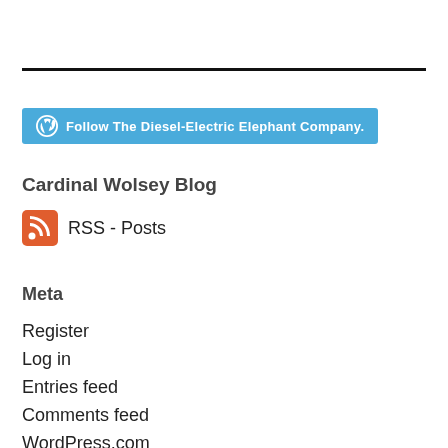[Figure (other): Horizontal black rule divider line]
[Figure (other): WordPress Follow button: blue rounded rectangle with WordPress icon and text 'Follow The Diesel-Electric Elephant Company.']
Cardinal Wolsey Blog
[Figure (other): RSS feed icon (orange/red rounded square with white wifi-style waves) followed by text 'RSS - Posts']
Meta
Register
Log in
Entries feed
Comments feed
WordPress.com